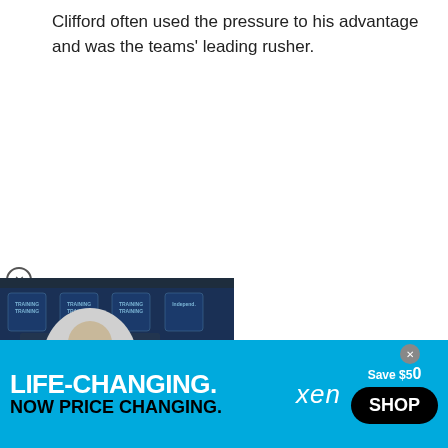Clifford often used the pressure to his advantage and was the teams' leading rusher.
[Figure (screenshot): Video player showing a football player at a press conference with Eagles training camp backdrop. A white play button is overlaid in the center.]
him to throw two silly
[Figure (infographic): Advertisement banner: LIFE-CHANGING. NOW PRICE CHANGING. xen Save $50 SHOP]